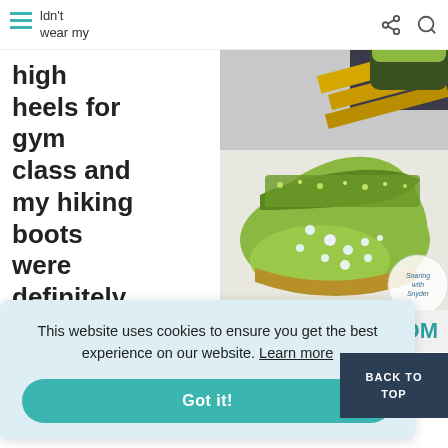couldn't wear my high heels for gym class and my hiking boots were definitely not
[Figure (photo): Green glitter children's shoe with rhinestone decorations, next to pencils and a book]
.COM
This website uses cookies to ensure you get the best experience on our website. Learn more
Got it!
sed to
atting
BACK TO TOP
learn with my daughter's infant shoe journey back and...